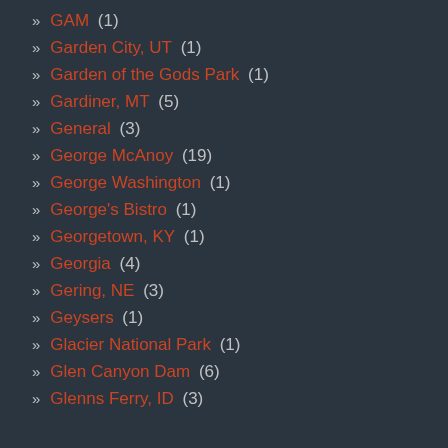GAM (1)
Garden City, UT (1)
Garden of the Gods Park (1)
Gardiner, MT (5)
General (3)
George McAnoy (19)
George Washington (1)
George's Bistro (1)
Georgetown, KY (1)
Georgia (4)
Gering, NE (3)
Geysers (1)
Glacier National Park (1)
Glen Canyon Dam (6)
Glenns Ferry, ID (3)